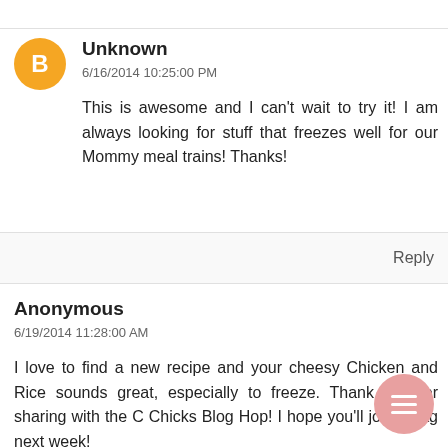Unknown
6/16/2014 10:25:00 PM
This is awesome and I can't wait to try it! I am always looking for stuff that freezes well for our Mommy meal trains! Thanks!
Reply
Anonymous
6/19/2014 11:28:00 AM
I love to find a new recipe and your cheesy Chicken and Rice sounds great, especially to freeze. Thank you for sharing with the C Chicks Blog Hop! I hope you'll join us ag next week!